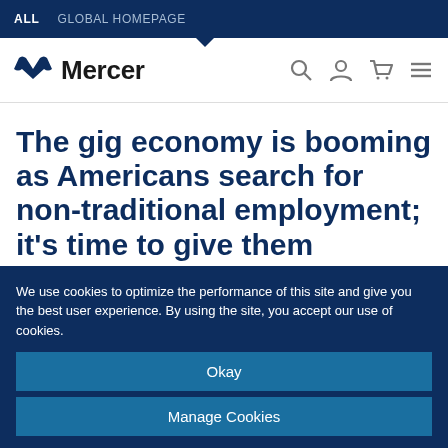ALL   GLOBAL HOMEPAGE
[Figure (logo): Mercer logo with two overlapping shield/chevron shapes in blue, followed by the text 'Mercer' in bold dark font]
The gig economy is booming as Americans search for non-traditional employment; it’s time to give them benefits.
We use cookies to optimize the performance of this site and give you the best user experience. By using the site, you accept our use of cookies.
Okay
Manage Cookies